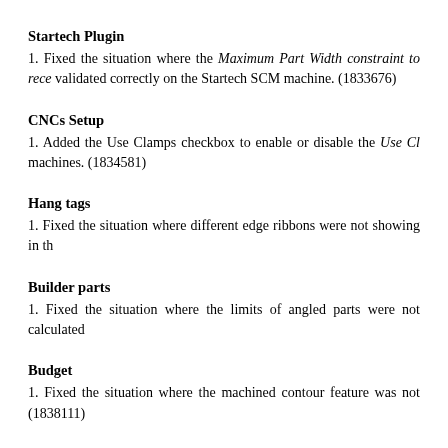Startech Plugin
1. Fixed the situation where the Maximum Part Width constraint to rece validated correctly on the Startech SCM machine. (1833676)
CNCs Setup
1. Added the Use Clamps checkbox to enable or disable the Use Cl machines. (1834581)
Hang tags
1. Fixed the situation where different edge ribbons were not showing in th
Builder parts
1. Fixed the situation where the limits of angled parts were not calculated
Budget
1. Fixed the situation where the machined contour feature was not (1838111)